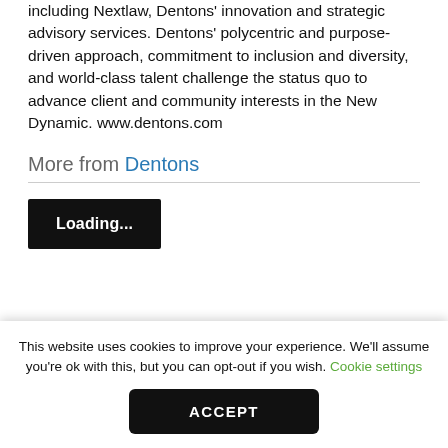including Nextlaw, Dentons' innovation and strategic advisory services. Dentons' polycentric and purpose-driven approach, commitment to inclusion and diversity, and world-class talent challenge the status quo to advance client and community interests in the New Dynamic. www.dentons.com
More from Dentons
[Figure (screenshot): A dark button labeled 'Loading...']
[Figure (screenshot): A partially visible section box with blue left border and partial text 'Press Releases and Law Firm Thought']
This website uses cookies to improve your experience. We'll assume you're ok with this, but you can opt-out if you wish. Cookie settings
ACCEPT